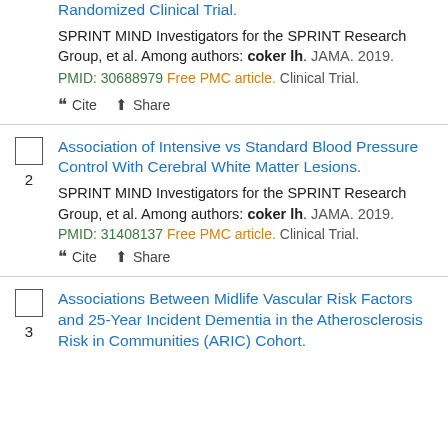Randomized Clinical Trial. SPRINT MIND Investigators for the SPRINT Research Group, et al. Among authors: coker lh. JAMA. 2019. PMID: 30688979 Free PMC article. Clinical Trial.
Cite  Share
Association of Intensive vs Standard Blood Pressure Control With Cerebral White Matter Lesions.
SPRINT MIND Investigators for the SPRINT Research Group, et al. Among authors: coker lh. JAMA. 2019. PMID: 31408137 Free PMC article. Clinical Trial.
Cite  Share
Associations Between Midlife Vascular Risk Factors and 25-Year Incident Dementia in the Atherosclerosis Risk in Communities (ARIC) Cohort.